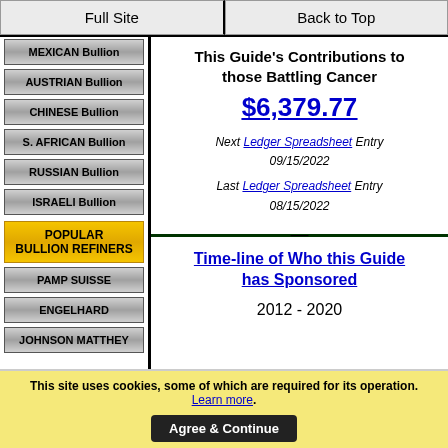Full Site | Back to Top
MEXICAN Bullion
AUSTRIAN Bullion
CHINESE Bullion
S. AFRICAN Bullion
RUSSIAN Bullion
ISRAELI Bullion
POPULAR BULLION REFINERS
PAMP SUISSE
ENGELHARD
JOHNSON MATTHEY
This Guide's Contributions to those Battling Cancer
$6,379.77
Next Ledger Spreadsheet Entry 09/15/2022
Last Ledger Spreadsheet Entry 08/15/2022
Time-line of Who this Guide has Sponsored
2012 - 2020
This site uses cookies, some of which are required for its operation. Learn more. Agree & Continue